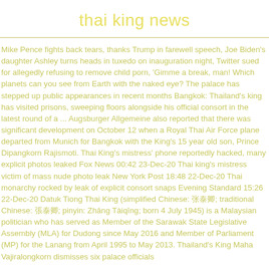thai king news
Mike Pence fights back tears, thanks Trump in farewell speech, Joe Biden's daughter Ashley turns heads in tuxedo on inauguration night, Twitter sued for allegedly refusing to remove child porn, 'Gimme a break, man! Which planets can you see from Earth with the naked eye? The palace has stepped up public appearances in recent months Bangkok: Thailand's king has visited prisons, sweeping floors alongside his official consort in the latest round of a ... Augsburger Allgemeine also reported that there was significant development on October 12 when a Royal Thai Air Force plane departed from Munich for Bangkok with the King's 15 year old son, Prince Dipangkorn Rajismoti. Thai King's mistress' phone reportedly hacked, many explicit photos leaked Fox News 00:42 23-Dec-20 Thai king's mistress victim of mass nude photo leak New York Post 18:48 22-Dec-20 Thai monarchy rocked by leak of explicit consort snaps Evening Standard 15:26 22-Dec-20 Datuk Tiong Thai King (simplified Chinese: 张泰卿; traditional Chinese: 張泰卿; pinyin: Zhāng Tàiqīng; born 4 July 1945) is a Malaysian politician who has served as Member of the Sarawak State Legislative Assembly (MLA) for Dudong since May 2016 and Member of Parliament (MP) for the Lanang from April 1995 to May 2013. Thailand's King Maha Vajiralongkorn dismisses six palace officials